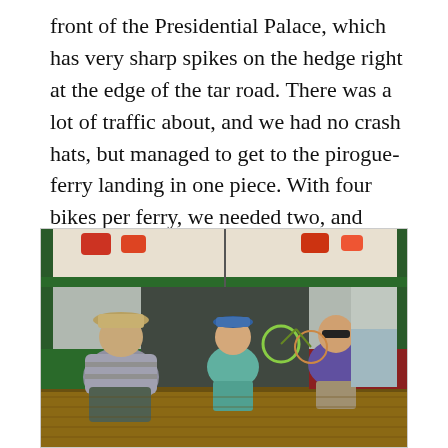front of the Presidential Palace, which has very sharp spikes on the hedge right at the edge of the tar road. There was a lot of traffic about, and we had no crash hats, but managed to get to the pirogue-ferry landing in one piece. With four bikes per ferry, we needed two, and crossed the river
[Figure (photo): Three people sitting inside a green-painted wooden pirogue ferry boat. On the left is a heavyset man in a hat and grey polo shirt with dark cargo shorts. In the middle is a person in a teal sleeveless top and shorts. On the right is a woman with sunglasses in a purple top and khaki shorts. Bicycles and gear are visible in the background. Life vests hang from the ceiling of the boat.]